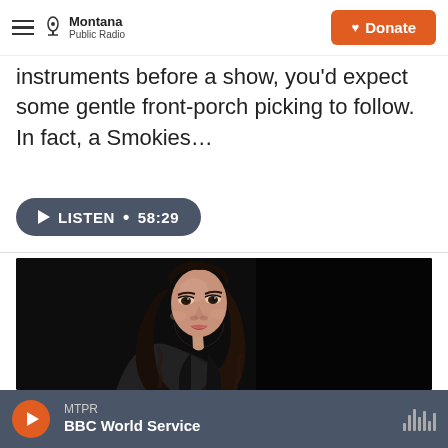Montana Public Radio — Donate
instruments before a show, you'd expect some gentle front-porch picking to follow. In fact, a Smokies…
[Figure (other): Listen audio button: LISTEN • 58:29]
[Figure (photo): Portrait photo of a young woman with long wavy dark hair against a dark background, looking toward camera]
MTPR — BBC World Service (audio player bar)